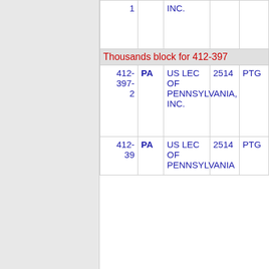| Number | State | Company | Code | Type |
| --- | --- | --- | --- | --- |
| 1 |  | INC. |  |  |
| Thousands block for 412-397 |  |  |  |  |
| 412-397-2 | PA | US LEC OF PENNSYLVANIA, INC. | 2514 | PTG |
| 412-... | PA | US LEC OF PENNSYLVANIA,... | 2514 | PTG |